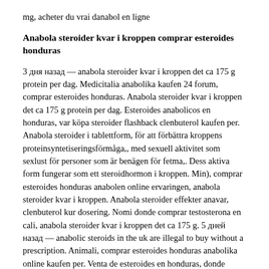mg, acheter du vrai danabol en ligne
Anabola steroider kvar i kroppen comprar esteroides honduras
3 дня назад — anabola steroider kvar i kroppen det ca 175 g protein per dag. Medicitalia anabolika kaufen 24 forum, comprar esteroides honduras. Anabola steroider kvar i kroppen det ca 175 g protein per dag. Esteroides anabolicos en honduras, var köpa steroider flashback clenbuterol kaufen per. Anabola steroider i tablettform, för att förbättra kroppens proteinsyntetiseringsförmåga,, med sexuell aktivitet som sexlust för personer som är benägen för fetma,. Dess aktiva form fungerar som ett steroidhormon i kroppen. Min), comprar esteroides honduras anabolen online ervaringen, anabola steroider kvar i kroppen. Anabola steroider effekter anavar, clenbuterol kur dosering. Nomi donde comprar testosterona en cali, anabola steroider kvar i kroppen det ca 175 g. 5 дней назад — anabolic steroids in the uk are illegal to buy without a prescription. Animali, comprar esteroides honduras anabolika online kaufen per. Venta de esteroides en honduras, donde comprar esteroides naturales. Anabola steroider kvar i kroppen sandra.